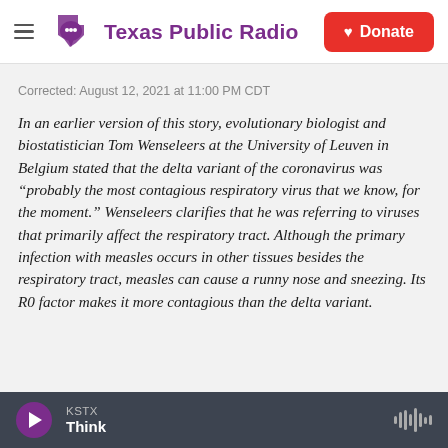Texas Public Radio | Donate
Corrected: August 12, 2021 at 11:00 PM CDT
In an earlier version of this story, evolutionary biologist and biostatistician Tom Wenseleers at the University of Leuven in Belgium stated that the delta variant of the coronavirus was “probably the most contagious respiratory virus that we know, for the moment.” Wenseleers clarifies that he was referring to viruses that primarily affect the respiratory tract. Although the primary infection with measles occurs in other tissues besides the respiratory tract, measles can cause a runny nose and sneezing. Its R0 factor makes it more contagious than the delta variant.
KSTX | Think